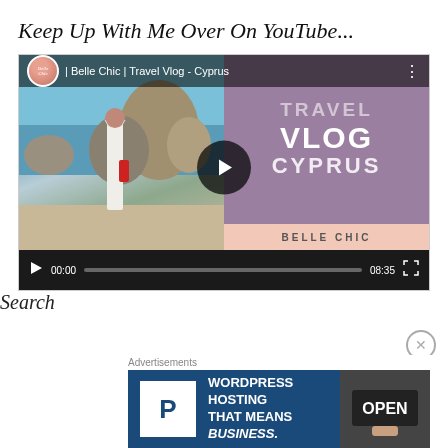Keep Up With Me Over On YouTube...
[Figure (screenshot): Embedded YouTube video player showing 'Belle Chic | Travel Vlog - Cyprus'. Left half shows a beach scene with a woman in a white dress. Right half shows purple background with text TRAVEL VLOG CYPRUS and a pink bar reading BELLE CHIC. Video controls show 00:00 / 08:35.]
Search
Advertisements
[Figure (screenshot): Advertisement banner for WordPress Hosting with a P logo icon and text 'WORDPRESS HOSTING THAT MEANS BUSINESS.' with an OPEN sign image on the right.]